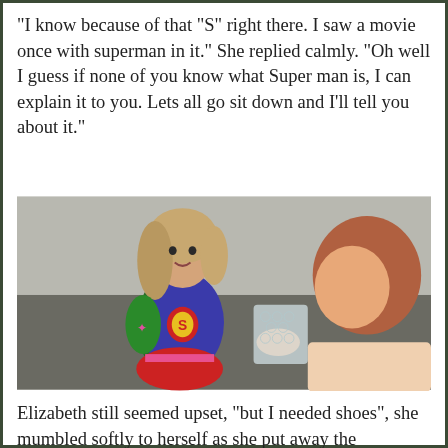“I know because of that “S” right there. I saw a movie once with superman in it.” She replied calmly. “Oh well I guess if none of you know what Super man is, I can explain it to you. Lets all go sit down and I’ll tell you about it.”
[Figure (photo): A doll dressed in a Superman costume (blue top with S logo, red skirt) facing a young child with reddish-brown hair, who appears to be touching the doll.]
Elizabeth still seemed upset, “but I needed shoes”, she mumbled softly to herself as she put away the